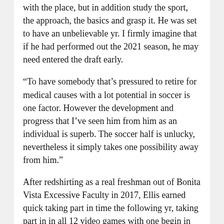with the place, but in addition study the sport, the approach, the basics and grasp it. He was set to have an unbelievable yr. I firmly imagine that if he had performed out the 2021 season, he may need entered the draft early.
“To have somebody that’s pressured to retire for medical causes with a lot potential in soccer is one factor. However the development and progress that I’ve seen him from him as an individual is superb. The soccer half is unlucky, nevertheless it simply takes one possibility away from him.”
After redshirting as a real freshman out of Bonita Vista Excessive Faculty in 2017, Ellis earned quick taking part in time the following yr, taking part in in all 12 video games with one begin in 2018. He began six of eight video games throughout the COVID-19 impacted season in 2020 and was set to be a full-time starter a yr later earlier than the harm took its toll.
He finishes his BYU profession with 22 tackles and 5 move breakups whereas incomes the nickname “Ellis